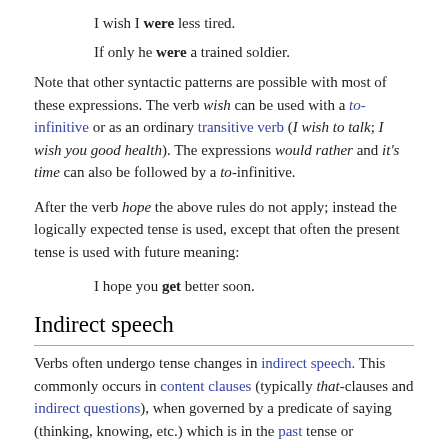I wish I were less tired.
If only he were a trained soldier.
Note that other syntactic patterns are possible with most of these expressions. The verb wish can be used with a to-infinitive or as an ordinary transitive verb (I wish to talk; I wish you good health). The expressions would rather and it's time can also be followed by a to-infinitive.
After the verb hope the above rules do not apply; instead the logically expected tense is used, except that often the present tense is used with future meaning:
I hope you get better soon.
Indirect speech
Verbs often undergo tense changes in indirect speech. This commonly occurs in content clauses (typically that-clauses and indirect questions), when governed by a predicate of saying (thinking, knowing, etc.) which is in the past tense or conditional mood.